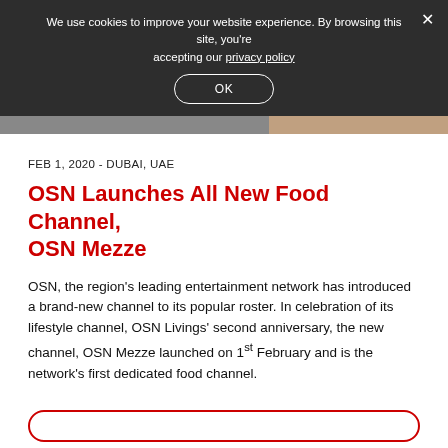We use cookies to improve your website experience. By browsing this site, you're accepting our privacy policy
FEB 1, 2020 - DUBAI, UAE
OSN Launches All New Food Channel, OSN Mezze
OSN, the region's leading entertainment network has introduced a brand-new channel to its popular roster. In celebration of its lifestyle channel, OSN Livings' second anniversary, the new channel, OSN Mezze launched on 1st February and is the network's first dedicated food channel.